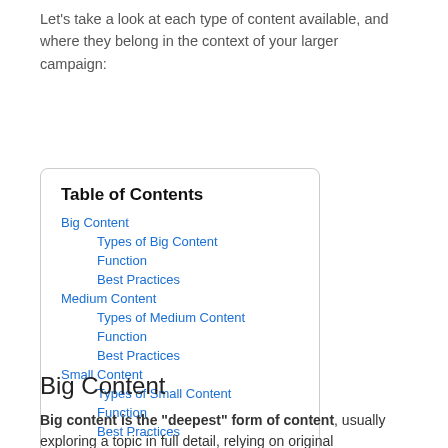Let's take a look at each type of content available, and where they belong in the context of your larger campaign:
| Table of Contents |
| --- |
| Big Content |
| Types of Big Content |
| Function |
| Best Practices |
| Medium Content |
| Types of Medium Content |
| Function |
| Best Practices |
| Small Content |
| Types of Small Content |
| Function |
| Best Practices |
Big Content
Big content is the “deepest” form of content, usually exploring a topic in full detail, relying on original